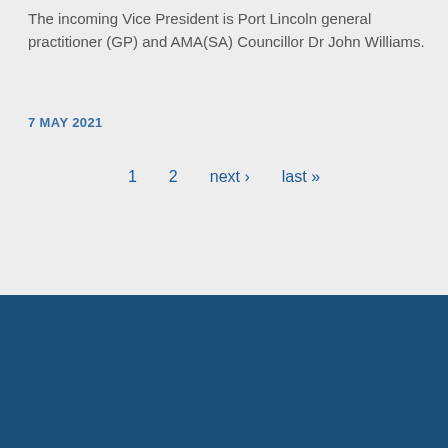The incoming Vice President is Port Lincoln general practitioner (GP) and AMA(SA) Councillor Dr John Williams.
7 MAY 2021
1   2   next ›   last »
CONTACT US   PRIVACY POLICY   AMA FEDERAL